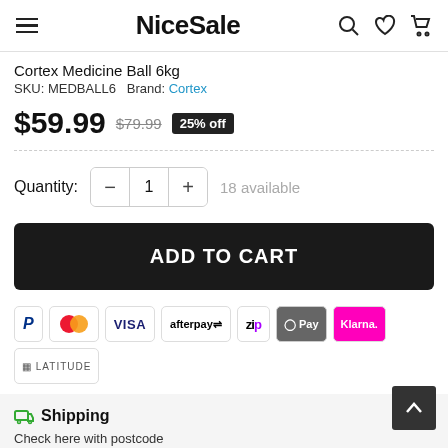NiceSale
Cortex Medicine Ball 6kg
SKU: MEDBALL6   Brand: Cortex
$59.99  $79.99  25% off
Quantity: 1  18 available
ADD TO CART
[Figure (other): Payment method icons: PayPal, Mastercard, Visa, Afterpay, Zip, Google Pay, Klarna, Latitude]
Shipping
Check here with postcode
Postcode  Check